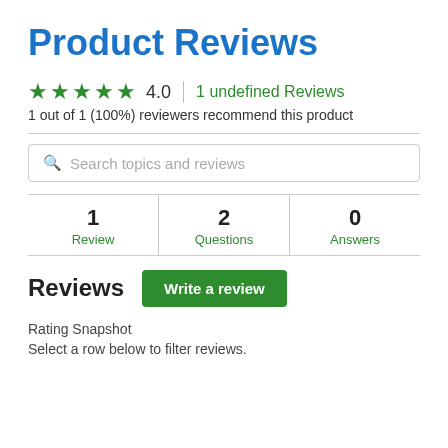Product Reviews
★★★★★  4.0  |  1 undefined Reviews
1 out of 1 (100%) reviewers recommend this product
Search topics and reviews
| 1
Review | 2
Questions | 0
Answers |
Reviews
Write a review
Rating Snapshot
Select a row below to filter reviews.